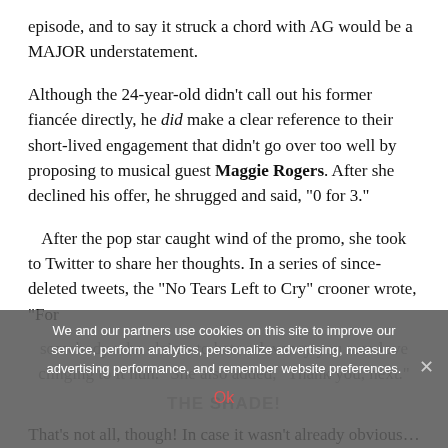episode, and to say it struck a chord with AG would be a MAJOR understatement.
Although the 24-year-old didn't call out his former fiancée directly, he did make a clear reference to their short-lived engagement that didn't go over too well by proposing to musical guest Maggie Rogers. After she declined his offer, he shrugged and said, "0 for 3."
After the pop star caught wind of the promo, she took to Twitter to share her thoughts. In a series of since-deleted tweets, the "No Tears Left to Cry" crooner wrote, "For somebody who claims to hate relevancy you sure love clinging to it huh." She also added, "Thank you, next."
THE SHADE!
That's not all, though! In case it wasn't already obvious…
We and our partners use cookies on this site to improve our service, perform analytics, personalize advertising, measure advertising performance, and remember website preferences.
Ok